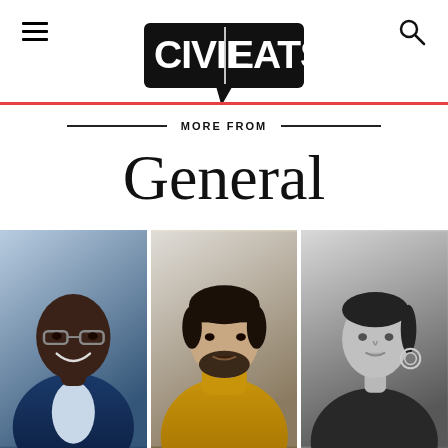Civil Eats
MORE FROM
General
[Figure (photo): Three portrait photos side by side: left - a smiling Black man with glasses in a suit; center - a man with dark hair and beard in a yellow turtleneck; right - a woman in black and white portrait with earrings]